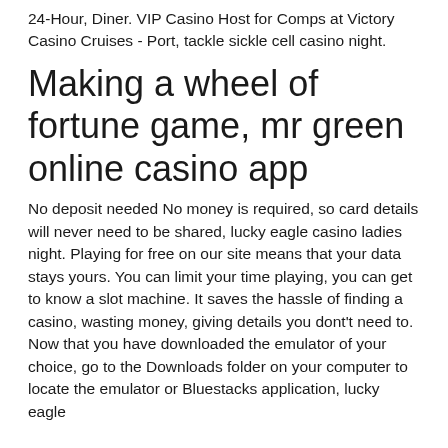24-Hour, Diner. VIP Casino Host for Comps at Victory Casino Cruises - Port, tackle sickle cell casino night.
Making a wheel of fortune game, mr green online casino app
No deposit needed No money is required, so card details will never need to be shared, lucky eagle casino ladies night. Playing for free on our site means that your data stays yours. You can limit your time playing, you can get to know a slot machine. It saves the hassle of finding a casino, wasting money, giving details you dont't need to. Now that you have downloaded the emulator of your choice, go to the Downloads folder on your computer to locate the emulator or Bluestacks application, lucky eagle casino ladies night women casino night.